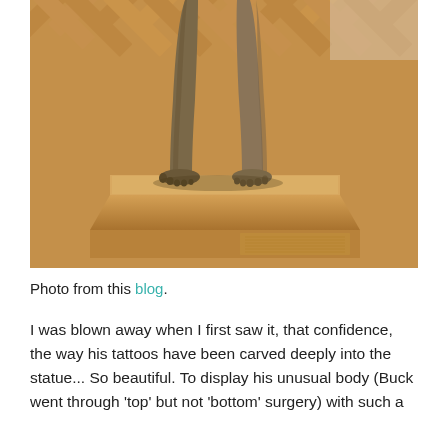[Figure (photo): Close-up photo of the lower body of a bronze statue of a human figure, standing on a square wooden plinth/base. The statue shows legs and feet with detailed musculature. The plinth sits on a herringbone-patterned wooden parquet floor. An engraved text panel is visible on the front of the wooden base.]
Photo from this blog.
I was blown away when I first saw it, that confidence, the way his tattoos have been carved deeply into the statue... So beautiful. To display his unusual body (Buck went through 'top' but not 'bottom' surgery) with such a